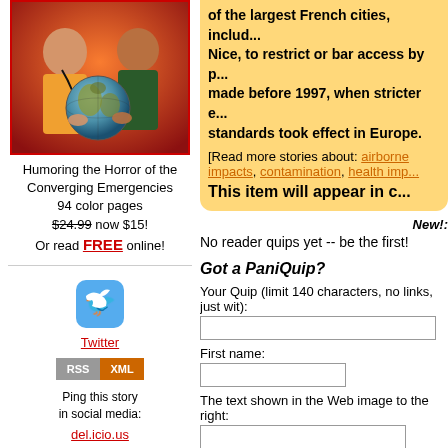[Figure (photo): Two men holding a globe, one wearing a stethoscope, orange/red background]
Humoring the Horror of the Converging Emergencies
94 color pages
$24.99 now $15!
Or read FREE online!
[Figure (logo): Twitter bird logo button]
Twitter
[Figure (logo): RSS XML badge]
Ping this story
in social media:
del.icio.us
Digg
Newsvine
NowPublic
Reddit
Facebook
StumbleUpon
of the largest French cities, includ... Nice, to restrict or bar access by p... made before 1997, when stricter e... standards took effect in Europe.
[Read more stories about: airborne impacts, contamination, health imp...
This item will appear in c...
New!:
No reader quips yet -- be the first!
Got a PaniQuip?
Your Quip (limit 140 characters, no links, just wit):
First name:
The text shown in the Web image to the right:
Submit My Quip
We reserve the right to reuse, remove, or refuse any...